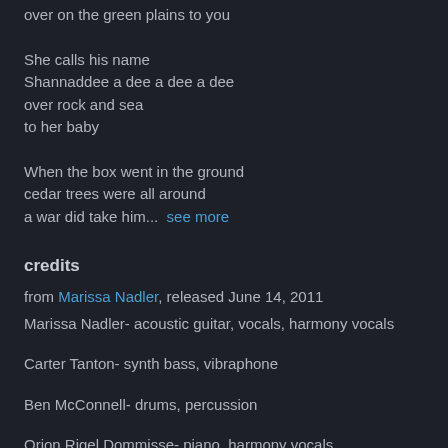over on the green plains to you
She calls his name
Shannaddee a dee a dee a dee
over rock and sea
to her baby
When the box went in the ground
cedar trees were all around
a war did take him...  see more
credits
from Marissa Nadler, released June 14, 2011
Marissa Nadler- acoustic guitar, vocals, harmony vocals
Carter Tanton- synth bass, vibraphone
Ben McConnell- drums, percussion
Orion Rigel Dommisse- piano, harmony vocals
all rights reserved
tags